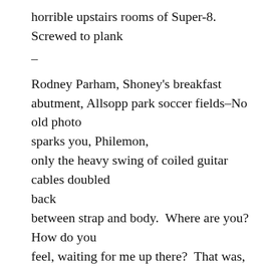horrible upstairs rooms of Super-8.  Screwed to plank
–
Rodney Parham, Shoney's breakfast abutment, Allsopp park soccer fields–No old photo sparks you, Philemon,
only the heavy swing of coiled guitar cables doubled back
between strap and body.  Where are you?How do you feel, waiting for me up there?  That was, le'ssee, who spotted the truckstop? The Gypsy camp under interstate, the barefoot kids in truck bed staringback through jangling.  As a trucker curbed his rig. As a volunteer referee waited for us to cross before tossing the soccer ball back in play. A phone beeped; a phone rigged to hang from leather loops on some fat-ass's belt.  Hitch the trailer, Philip McGroin,